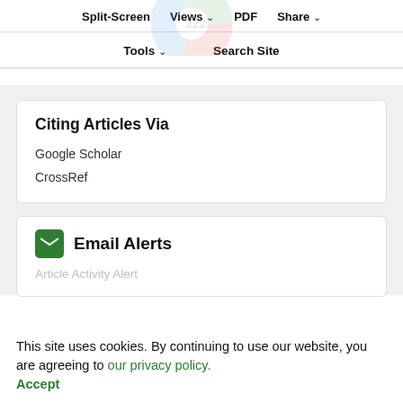Split-Screen | Views ∨ | PDF | Share ∨
Tools ∨ | Search Site
Citing Articles Via
Google Scholar
CrossRef
Email Alerts
Article Activity Alert
This site uses cookies. By continuing to use our website, you are agreeing to our privacy policy. Accept